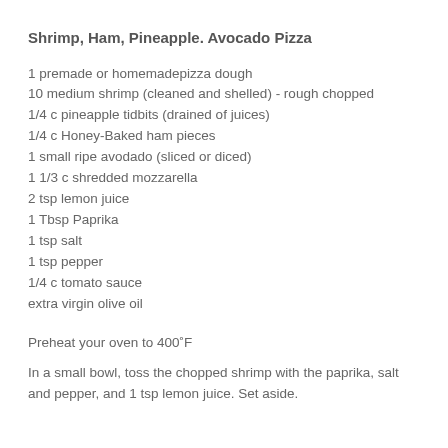Shrimp, Ham, Pineapple. Avocado Pizza
1 premade or homemadepizza dough
10 medium shrimp (cleaned and shelled) - rough chopped
1/4 c pineapple tidbits (drained of juices)
1/4 c Honey-Baked ham pieces
1 small ripe avodado (sliced or diced)
1 1/3 c shredded mozzarella
2 tsp lemon juice
1 Tbsp Paprika
1 tsp salt
1 tsp pepper
1/4 c tomato sauce
extra virgin olive oil
Preheat your oven to 400˚F
In a small bowl, toss the chopped shrimp with the paprika, salt and pepper, and 1 tsp lemon juice. Set aside.